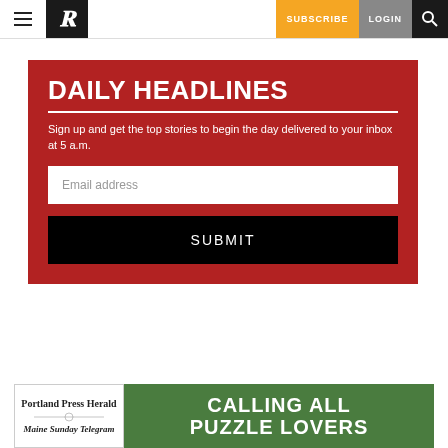Navigation bar with hamburger menu, P logo, SUBSCRIBE, LOGIN, search icon
DAILY HEADLINES
Sign up and get the top stories to begin the day delivered to your inbox at 5 a.m.
[Figure (other): Email address input field with placeholder text 'Email address']
[Figure (other): SUBMIT button in black]
[Figure (other): Advertisement banner: Portland Press Herald / Maine Sunday Telegram logo on left, 'CALLING ALL PUZZLE LOVERS' on green background on right]